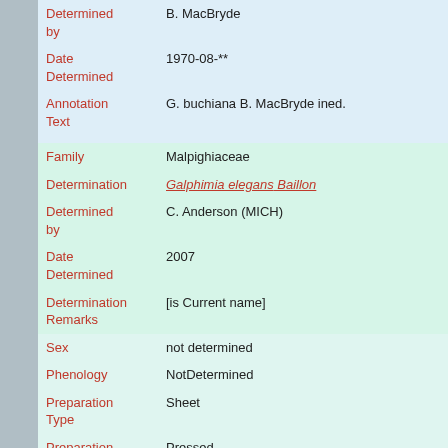| Field | Value |
| --- | --- |
| Determined by | B. MacBryde |
| Date Determined | 1970-08-** |
| Annotation Text | G. buchiana B. MacBryde ined. |
| Family | Malpighiaceae |
| Determination | Galphimia elegans Baillon |
| Determined by | C. Anderson (MICH) |
| Date Determined | 2007 |
| Determination Remarks | [is Current name] |
| Sex | not determined |
| Phenology | NotDetermined |
| Preparation Type | Sheet |
| Preparation Method | Pressed |
| Remarks | Annotated as Isoneotype of Galphimia hirsuta sens. Bartl. to be a type of Galphimia burchiana B. MacBryde ined.? |